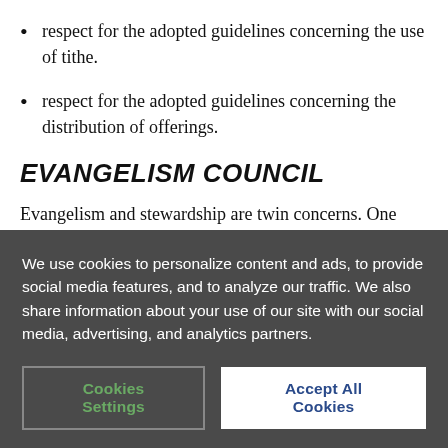respect for the adopted guidelines concerning the use of tithe.
respect for the adopted guidelines concerning the distribution of offerings.
[Figure (logo): Seventh-day Adventist Church flame and open Bible logo in purple]
EVANGELISM COUNCIL
Evangelism and stewardship are twin concerns. One objective of stewardship is to lead all to partner faithfully in God's mission. When the stewardship director is informed about the
We use cookies to personalize content and ads, to provide social media features, and to analyze our traffic. We also share information about your use of our site with our social media, advertising, and analytics partners.
Cookies Settings  Accept All Cookies